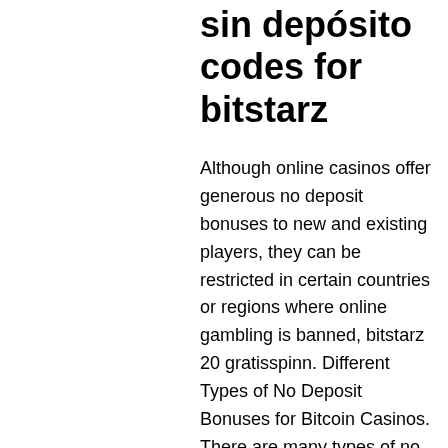sin depósito codes for bitstarz
Although online casinos offer generous no deposit bonuses to new and existing players, they can be restricted in certain countries or regions where online gambling is banned, bitstarz 20 gratisspinn. Different Types of No Deposit Bonuses for Bitcoin Casinos. There are many types of no deposit bonuses offered by various online casinos. They include; Bitcoin Casino Welcome and Matched Deposit Bonus. The bitcoin casino welcome bonus is by far the most popular promotion used by online casinos to lure new customers into trying the titles on offer. On Rootbet, there are several bonuses and promotions, bitstarz 20 gratisspinn. Great Rewards Nice Payment Limits, bitstarz 30 tiradas gratis. Before you claim any type of bonus, though, you can grab 20 no deposits from bitstarz that give you free spins and